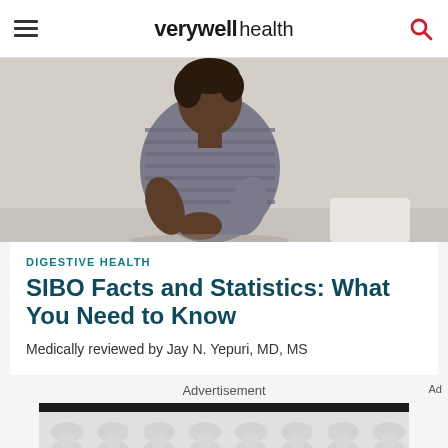verywell health
[Figure (photo): A person sitting and holding their stomach/abdomen area in discomfort, wearing a striped shirt, against a light gray background.]
DIGESTIVE HEALTH
SIBO Facts and Statistics: What You Need to Know
Medically reviewed by Jay N. Yepuri, MD, MS
Advertisement
[Figure (screenshot): Advertisement banner with a dark top bar and a light gray dotted/pattern background below.]